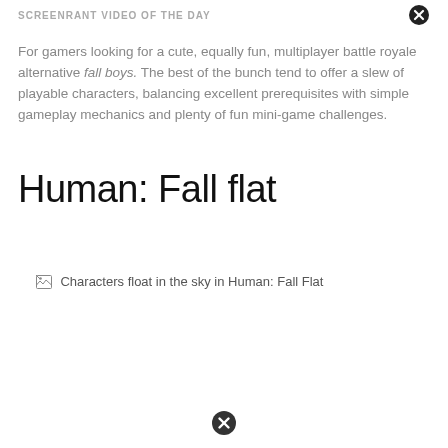SCREENRANT VIDEO OF THE DAY
For gamers looking for a cute, equally fun, multiplayer battle royale alternative fall boys. The best of the bunch tend to offer a slew of playable characters, balancing excellent prerequisites with simple gameplay mechanics and plenty of fun mini-game challenges.
Human: Fall flat
[Figure (photo): Broken image placeholder with alt text: Characters float in the sky in Human: Fall Flat]
[Figure (other): Close button (X icon) at bottom center of page]